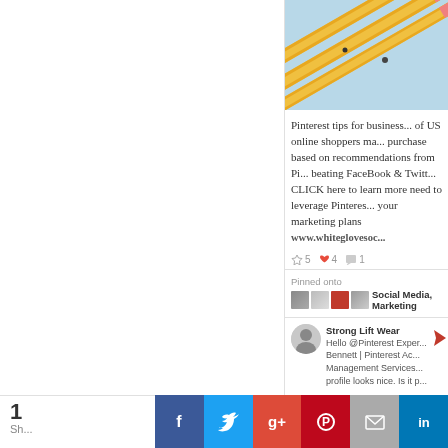[Figure (screenshot): Screenshot of a Pinterest card showing pencils image, Pinterest tips for business text, stats (5 repins, 4 likes, 1 comment), Pinned onto Social Media Marketing boards, and a comment from Strong Lift Wear saying Hello @Pinterest Expert Bennett | Pinterest Account Management Services... profile looks nice. Is it p]
Pinterest tips for business... of US online shoppers ma... purchase based on recommendations from Pi... beating FaceBook & Twitt... CLICK here to learn more need to leverage Pinteres... your marketing plans www.whiteglovesoc...
★ 5  ♥ 4  💬 1
Pinned onto
Social Media, Marketing
Strong Lift Wear
Hello @Pinterest Exper... Bennett | Pinterest Ac... Management Services... profile looks nice. Is it p...
1
Sh...